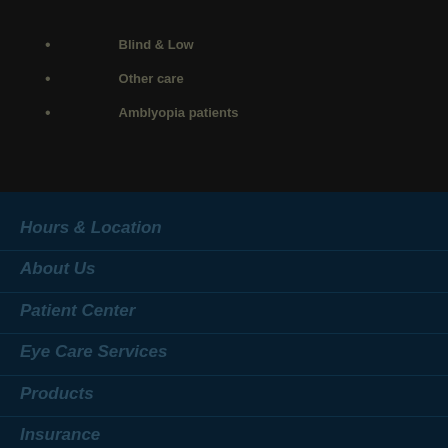Blind & Low
Other care
Amblyopia patients
Hours & Location
About Us
Patient Center
Eye Care Services
Products
Insurance